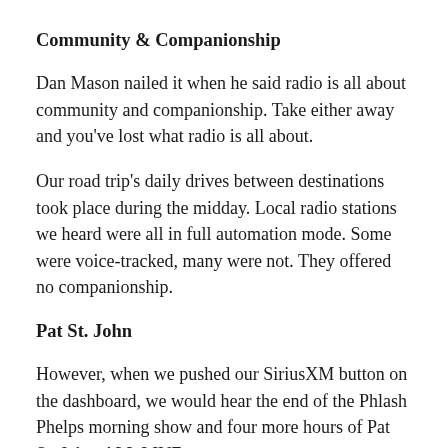Community & Companionship
Dan Mason nailed it when he said radio is all about community and companionship. Take either away and you've lost what radio is all about.
Our road trip's daily drives between destinations took place during the midday. Local radio stations we heard were all in full automation mode. Some were voice-tracked, many were not. They offered no companionship.
Pat St. John
However, when we pushed our SiriusXM button on the dashboard, we would hear the end of the Phlash Phelps morning show and four more hours of Pat St. John; ALL LIVE.